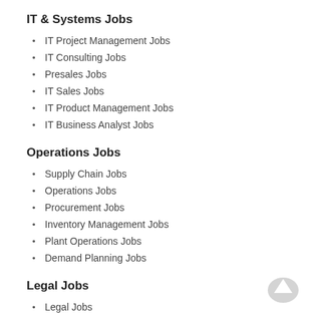IT & Systems Jobs
IT Project Management Jobs
IT Consulting Jobs
Presales Jobs
IT Sales Jobs
IT Product Management Jobs
IT Business Analyst Jobs
Operations Jobs
Supply Chain Jobs
Operations Jobs
Procurement Jobs
Inventory Management Jobs
Plant Operations Jobs
Demand Planning Jobs
Legal Jobs
Legal Jobs